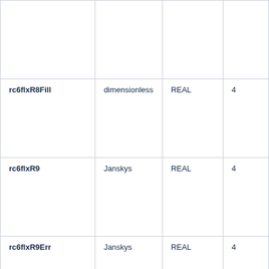| rc6flxR8Fill | dimensionless | REAL | 4 |
| rc6flxR9 | Janskys | REAL | 4 |
| rc6flxR9Err | Janskys | REAL | 4 |